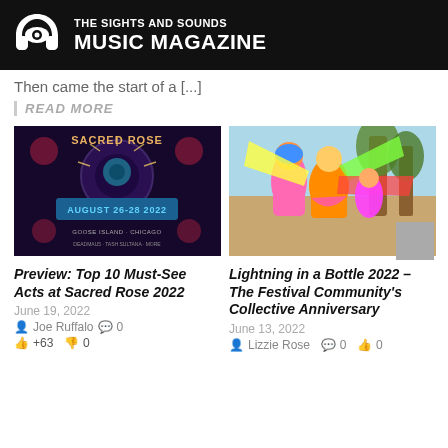THE SIGHTS AND SOUNDS MUSIC MAGAZINE
Then came the start of a [...]
READ MORE
[Figure (photo): Sacred Rose festival poster: August 26-28 2022, dark background with rose and decorative skull artwork]
[Figure (photo): Colorful costumed performers at Lightning in a Bottle festival, wearing vibrant rainbow outfits outdoors]
Preview: Top 10 Must-See Acts at Sacred Rose 2022
Lightning in a Bottle 2022 – The Festival Community's Collective Anniversary
June 19, 2022
June 13, 2022
Joe Ruffalo  0
Lizzie Rose  0  0
+63  0